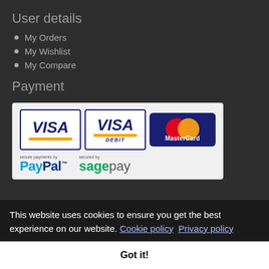User details
My Orders
My Wishlist
My Compare
Payment
[Figure (logo): Payment logos: VISA, VISA DEBIT, MasterCard, PayPal (secure payments by), Sage Pay (secured by)]
Newsletter
This website uses cookies to ensure you get the best experience on our website. Cookie policy  Privacy policy
Got it!